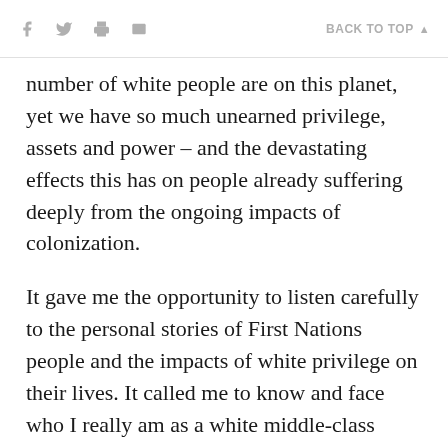f [twitter] [print] [email]   BACK TO TOP ▲
number of white people are on this planet, yet we have so much unearned privilege, assets and power – and the devastating effects this has on people already suffering deeply from the ongoing impacts of colonization.
It gave me the opportunity to listen carefully to the personal stories of First Nations people and the impacts of white privilege on their lives. It called me to know and face who I really am as a white middle-class woman and invited me into deep conversion, understanding and compassion.
Over decades, the empowerment and well-being of First Peoples has been both a priority and